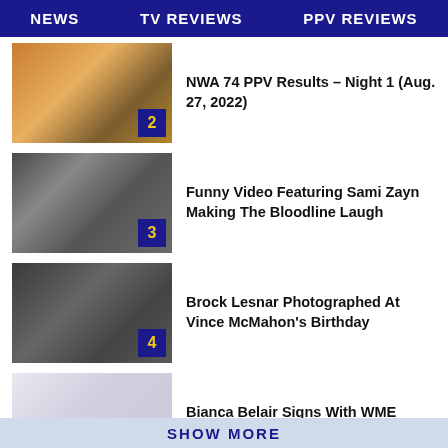NEWS  TV REVIEWS  PPV REVIEWS
[Figure (photo): Wrestling event promotional image with number badge 2]
NWA 74 PPV Results – Night 1 (Aug. 27, 2022)
[Figure (photo): Wrestling backstage photo with number badge 3]
Funny Video Featuring Sami Zayn Making The Bloodline Laugh
[Figure (photo): Brock Lesnar and Vince McMahon photo with number badge 4]
Brock Lesnar Photographed At Vince McMahon's Birthday
[Figure (photo): Light colored placeholder image with number badge 5]
Bianca Belair Signs With WME Talent Agency
SHOW MORE